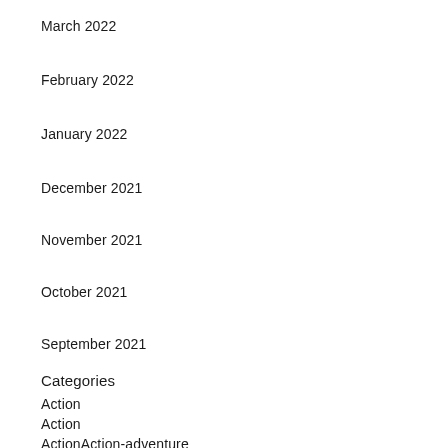March 2022
February 2022
January 2022
December 2021
November 2021
October 2021
September 2021
Categories
Action
Action
ActionAction-adventure
ActionAction-adventureArcade
ActionAction-adventure...